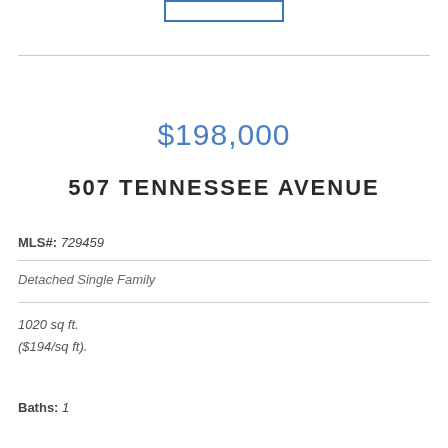[Figure (logo): Blue-bordered rectangle logo placeholder at top center]
$198,000
507 TENNESSEE AVENUE
MLS#: 729459
Detached Single Family
1020 sq ft.
($194/sq ft).
Baths: 1